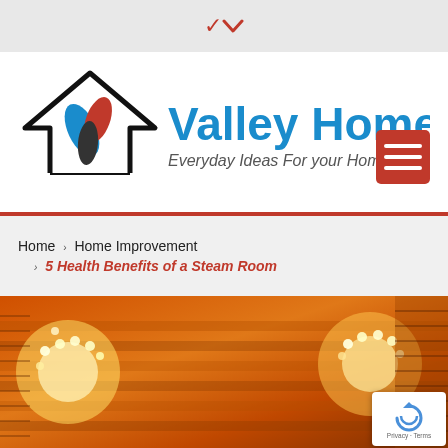▾
[Figure (logo): Valley Home logo with house outline icon containing three leaves (blue, red, dark) and text 'Valley Home' in blue with tagline 'Everyday Ideas For your Home & Life' and red hamburger menu button]
Home › Home Improvement
› 5 Health Benefits of a Steam Room
[Figure (photo): Interior of a sauna/steam room showing warm orange-lit wooden panels and bright light fixtures glowing through slatted wood]